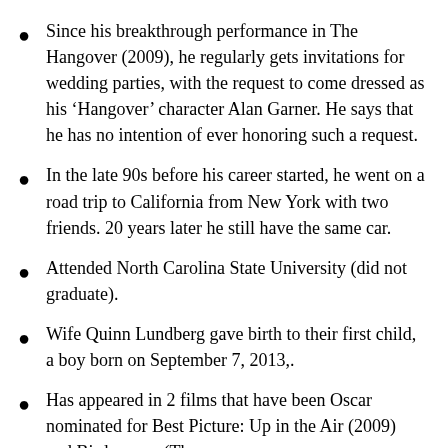Since his breakthrough performance in The Hangover (2009), he regularly gets invitations for wedding parties, with the request to come dressed as his ‘Hangover’ character Alan Garner. He says that he has no intention of ever honoring such a request.
In the late 90s before his career started, he went on a road trip to California from New York with two friends. 20 years later he still have the same car.
Attended North Carolina State University (did not graduate).
Wife Quinn Lundberg gave birth to their first child, a boy born on September 7, 2013,.
Has appeared in 2 films that have been Oscar nominated for Best Picture: Up in the Air (2009) and Birdman or (The